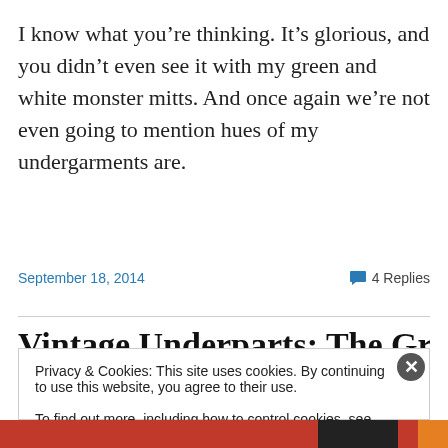I know what you’re thinking. It’s glorious, and you didn’t even see it with my green and white monster mitts. And once again we’re not even going to mention hues of my undergarments are.
September 18, 2014
4 Replies
Vintage Underparts: The Great
Privacy & Cookies: This site uses cookies. By continuing to use this website, you agree to their use.
To find out more, including how to control cookies, see here: Cookie Policy
Close and accept